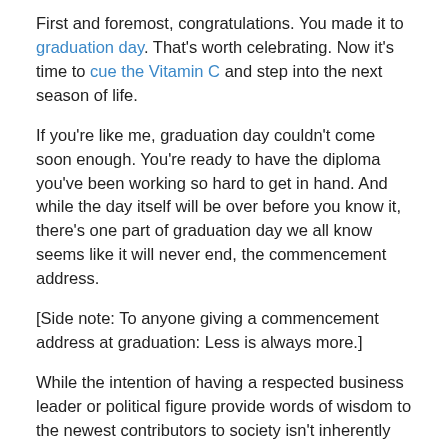First and foremost, congratulations. You made it to graduation day. That's worth celebrating. Now it's time to cue the Vitamin C and step into the next season of life.
If you're like me, graduation day couldn't come soon enough. You're ready to have the diploma you've been working so hard to get in hand. And while the day itself will be over before you know it, there's one part of graduation day we all know seems like it will never end, the commencement address.
[Side note: To anyone giving a commencement address at graduation: Less is always more.]
While the intention of having a respected business leader or political figure provide words of wisdom to the newest contributors to society isn't inherently bad, most commencement addresses are filled with recycled advice about thanking your parents and vague platitudes about life's next chapter.